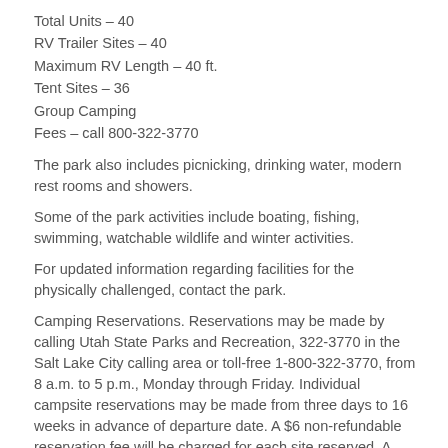Total Units – 40
RV Trailer Sites – 40
Maximum RV Length – 40 ft.
Tent Sites – 36
Group Camping
Fees – call 800-322-3770
The park also includes picnicking, drinking water, modern rest rooms and showers.
Some of the park activities include boating, fishing, swimming, watchable wildlife and winter activities.
For updated information regarding facilities for the physically challenged, contact the park.
Camping Reservations. Reservations may be made by calling Utah State Parks and Recreation, 322-3770 in the Salt Lake City calling area or toll-free 1-800-322-3770, from 8 a.m. to 5 p.m., Monday through Friday. Individual campsite reservations may be made from three days to 16 weeks in advance of departure date. A $6 non-refundable reservation fee will be charged for each site reserved. A $10 nonrefundable fee is charged for group sites and building rentals. An additional reservation fee will be charged for…